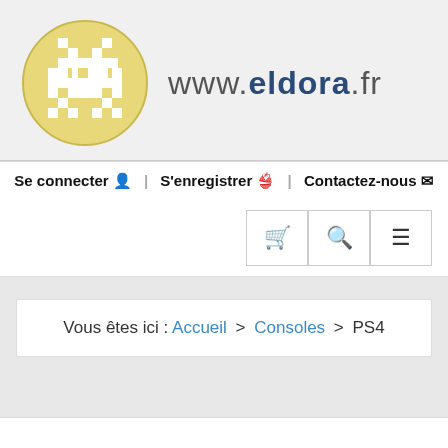[Figure (logo): Eldora.fr website logo: a golden circle with a white pixel-art space invader character inside, followed by the text www.eldora.fr]
Se connecter | S'enregistrer | Contactez-nous
Vous êtes ici : Accueil > Consoles > PS4